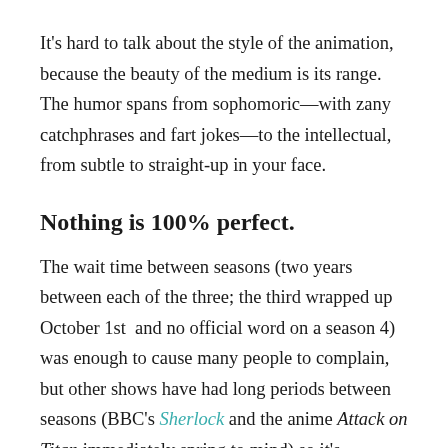It's hard to talk about the style of the animation, because the beauty of the medium is its range. The humor spans from sophomoric—with zany catchphrases and fart jokes—to the intellectual, from subtle to straight-up in your face.
Nothing is 100% perfect.
The wait time between seasons (two years between each of the three; the third wrapped up October 1st  and no official word on a season 4) was enough to cause many people to complain, but other shows have had long periods between seasons (BBC's Sherlock and the anime Attack on Titan immediately spring to mind) so it's frustrating, but nothing out of the extraordinary.